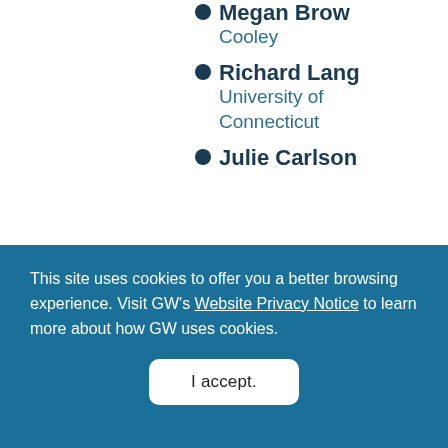Megan Brow
Cooley
Richard Lang
University of Connecticut
Julie Carlson
This site uses cookies to offer you a better browsing experience. Visit GW's Website Privacy Notice to learn more about how GW uses cookies.